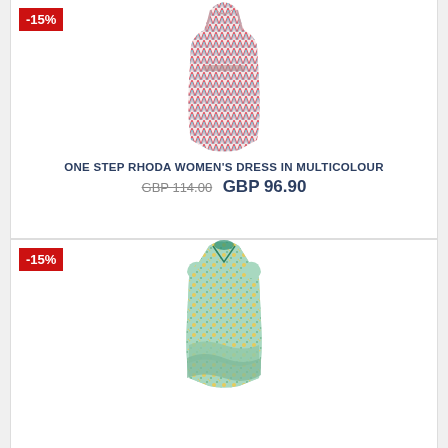[Figure (photo): Women's multicolour patterned dress from One Step Rhoda, shown on white background]
ONE STEP RHODA WOMEN'S DRESS IN MULTICOLOUR
GBP 114.00  GBP 96.90
[Figure (photo): Women's green floral short-sleeve wrap dress, shown on white background with -15% discount badge]